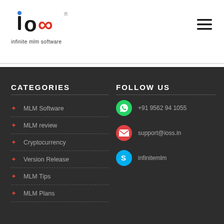[Figure (logo): Infinite MLM Software logo with 'ioo' text and infinity symbol in red, with tagline 'infinite mlm software']
[Figure (other): Hamburger menu icon (three horizontal lines) in top right corner]
CATEGORIES
MLM Software
MLM review
Cryptocurrency
Version Release
MLM Tips
MLM Plans
FOLLOW US
+91 9562 94 1055
support@ioss.in
infinitemlm